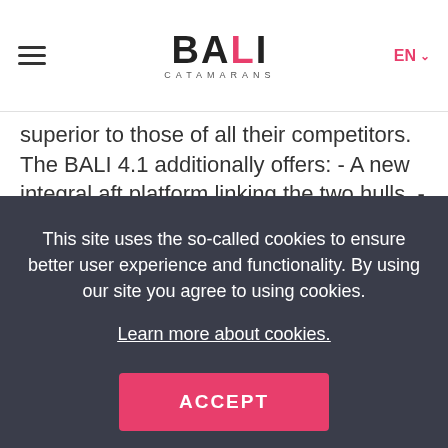BALI CATAMARANS
superior to those of all their competitors. The BALI 4.1 additionally offers: - A new integral aft platform linking the two hulls. - New bench
This site uses the so-called cookies to ensure better user experience and functionality. By using our site you agree to using cookies.
Learn more about cookies.
ACCEPT